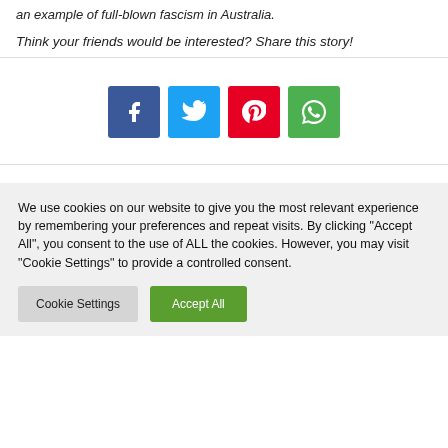an example of full-blown fascism in Australia.
Think your friends would be interested? Share this story!
[Figure (infographic): Four social media share buttons: Facebook (blue), Twitter (light blue), Pinterest (red), WhatsApp (green)]
We use cookies on our website to give you the most relevant experience by remembering your preferences and repeat visits. By clicking "Accept All", you consent to the use of ALL the cookies. However, you may visit "Cookie Settings" to provide a controlled consent.